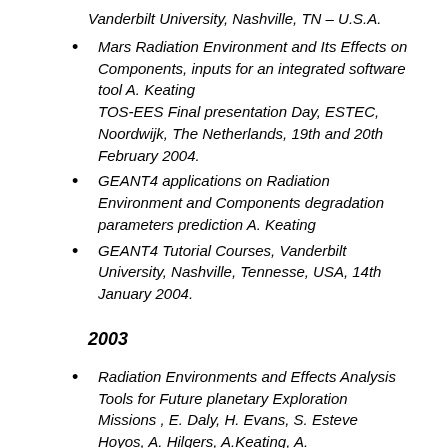Vanderbilt University, Nashville, TN – U.S.A.
Mars Radiation Environment and Its Effects on Components, inputs for an integrated software tool A. Keating TOS-EES Final presentation Day, ESTEC, Noordwijk, The Netherlands, 19th and 20th February 2004.
GEANT4 applications on Radiation Environment and Components degradation parameters prediction A. Keating
GEANT4 Tutorial Courses, Vanderbilt University, Nashville, Tennesse, USA, 14th January 2004.
2003
Radiation Environments and Effects Analysis Tools for Future planetary Exploration Missions , E. Daly, H. Evans, S. Esteve Hoyos, A. Hilgers, A.Keating, A.